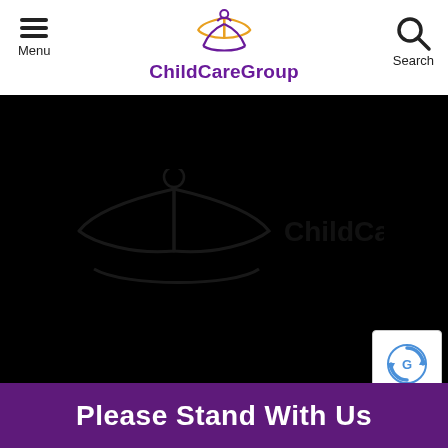[Figure (logo): ChildCareGroup logo with stylized book/person icon in orange and purple, and 'ChildCareGroup' text in purple]
Menu
Search
[Figure (screenshot): Black background with faint watermark of ChildCareGroup logo]
[Figure (other): reCAPTCHA badge with spinning arrows icon and Privacy · Terms text]
Please Stand With Us